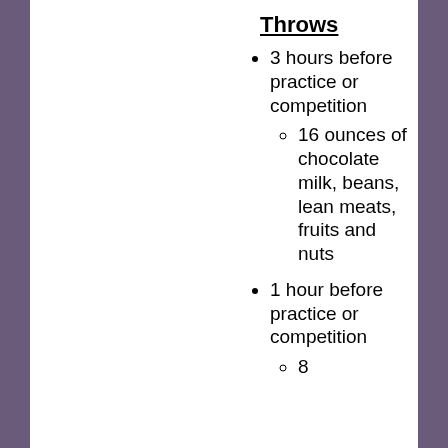Throws
3 hours before practice or competition
16 ounces of chocolate milk, beans, lean meats, fruits and nuts
1 hour before practice or competition
8